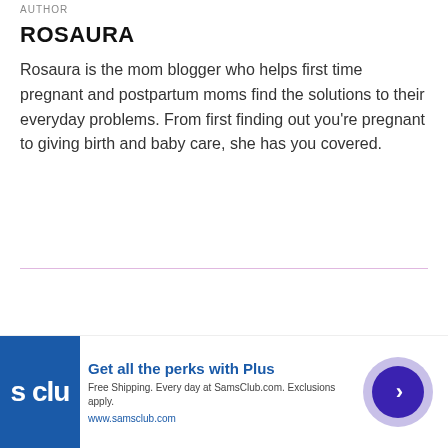AUTHOR
ROSAURA
Rosaura is the mom blogger who helps first time pregnant and postpartum moms find the solutions to their everyday problems. From first finding out you're pregnant to giving birth and baby care, she has you covered.
Leave A Comment
[Figure (other): Advertisement banner for SamsClub.com with logo, text 'Get all the perks with Plus', 'Free Shipping. Every day at SamsClub.com. Exclusions apply.', url 'www.samsclub.com', and a circular button with arrow.]